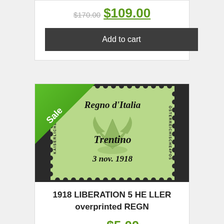$170.00 $109.00
Add to cart
[Figure (photo): A green postage stamp showing 'Regno d'Italia Trentino 3 nov. 1918' overprint on Austrian Kaiserliche stamp, with a green Sale banner in top-left corner]
1918 LIBERATION 5 HELLER overprinted REGN
$8.00 $5.00
Add to cart